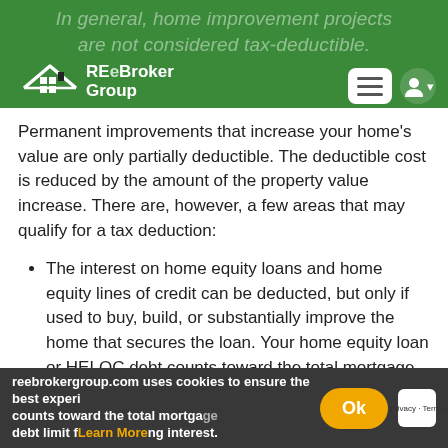In general, home improvement projects are not considered tax-deductible.
[Figure (logo): REeBroker Group logo with house icon and navigation hamburger menu and user icon]
Permanent improvements that increase your home’s value are only partially deductible. The deductible cost is reduced by the amount of the property value increase. There are, however, a few areas that may qualify for a tax deduction:
The interest on home equity loans and home equity lines of credit can be deducted, but only if used to buy, build, or substantially improve the home that secures the loan. Your home equity loan or HELOC debt counts toward the total mortgage debt limit for deducting interest.
reebrokergroup.com uses cookies to ensure the best experi… Learn More Ok Privacy · Terms